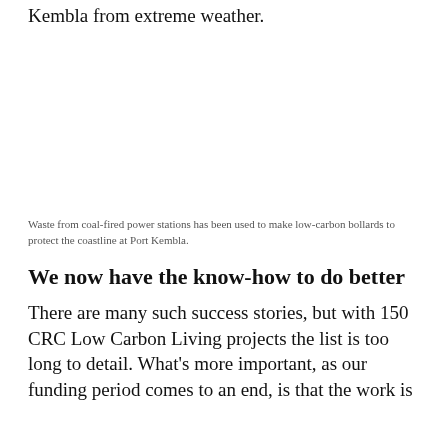Kembla from extreme weather.
[Figure (photo): Large white/blank image area representing a photograph (image not visible in this crop)]
Waste from coal-fired power stations has been used to make low-carbon bollards to protect the coastline at Port Kembla.
We now have the know-how to do better
There are many such success stories, but with 150 CRC Low Carbon Living projects the list is too long to detail. What's more important, as our funding period comes to an end, is that the work is